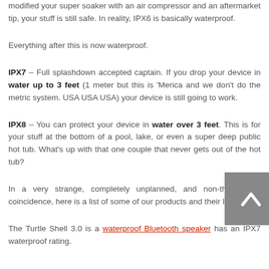modified your super soaker with an air compressor and an aftermarket tip, your stuff is still safe. In reality, IPX6 is basically waterproof.
Everything after this is now waterproof.
IPX7 – Full splashdown accepted captain. If you drop your device in water up to 3 feet (1 meter but this is 'Merica and we don't do the metric system. USA USA USA) your device is still going to work.
IPX8 – You can protect your device in water over 3 feet. This is for your stuff at the bottom of a pool, lake, or even a super deep public hot tub. What's up with that one couple that never gets out of the hot tub?
In a very strange, completely unplanned, and non-thought-out coincidence, here is a list of some of our products and their IP rating.
The Turtle Shell 3.0 is a waterproof Bluetooth speaker has an IPX7 waterproof rating.